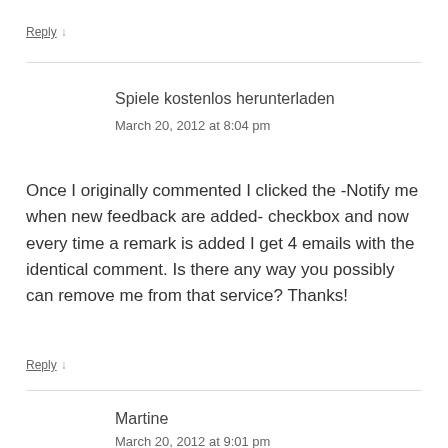Reply ↓
Spiele kostenlos herunterladen
March 20, 2012 at 8:04 pm
Once I originally commented I clicked the -Notify me when new feedback are added- checkbox and now every time a remark is added I get 4 emails with the identical comment. Is there any way you possibly can remove me from that service? Thanks!
Reply ↓
Martine
March 20, 2012 at 9:01 pm